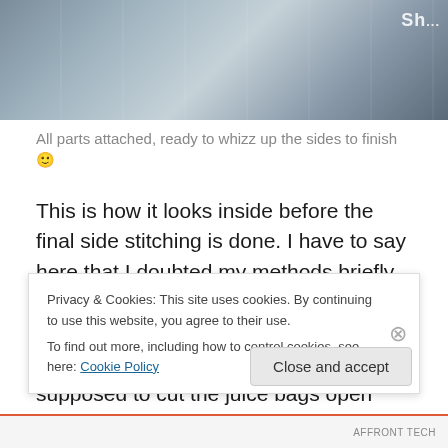[Figure (photo): Photo showing plastic/foil juice pouches laid out, with packaging text visible. Top right corner shows partial text 'Sh...']
All parts attached, ready to whizz up the sides to finish 🙂
This is how it looks inside before the final side stitching is done. I have to say here that I doubted my methods briefly looking at other people's bags online – they all seem to have plain silver inside and I wondered whether you are supposed to cut the juice bags open and remove the backs. But I decided that maybe American Capri Sun pouches don't have all this stuff on the back. The ones
Privacy & Cookies: This site uses cookies. By continuing to use this website, you agree to their use.
To find out more, including how to control cookies, see here: Cookie Policy
Close and accept